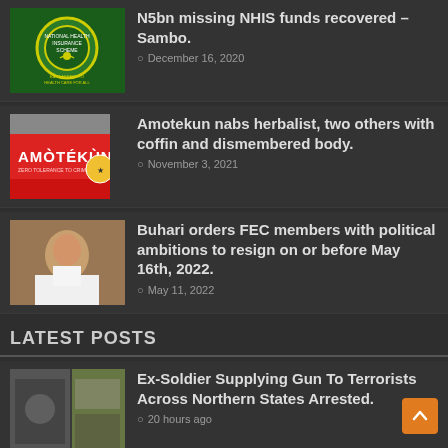[Figure (photo): NHIS logo - National Health Insurance Scheme circular emblem on green background]
N5bn missing NHIS funds recovered – Sambo.
December 16, 2020
[Figure (photo): Red Amotekun security vehicle with Amotekun logo on the side]
Amotekun nabs herbalist, two others with coffin and dismembered body.
November 3, 2021
[Figure (photo): Buhari in white outfit pointing finger]
Buhari orders FEC members with political ambitions to resign on or before May 16th, 2022.
May 11, 2022
LATEST POSTS
[Figure (photo): Ex-soldier and guns/ammunition collage]
Ex-Soldier Supplying Gun To Terrorists Across Northern States Arrested.
20 hours ago
[Figure (photo): Dark silhouette background image]
New UK law to end secret property investments by Nigerians, others.
20 hours ago